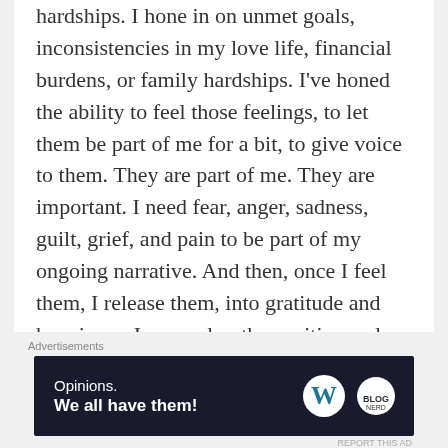hardships. I hone in on unmet goals, inconsistencies in my love life, financial burdens, or family hardships. I've honed the ability to feel those feelings, to let them be part of me for a bit, to give voice to them. They are part of me. They are important. I need fear, anger, sadness, guilt, grief, and pain to be part of my ongoing narrative. And then, once I feel them, I release them, into gratitude and happiness. I remember the positive and wonderful things in my life. I looked up at the moon and smiled about the happy moments during my day: the phone call from my 9-year old to tell me he missed me, the morning hug from my boyfriend, the delivery of a copy of my book to an excited friend,
Advertisements
[Figure (other): Advertisement banner with dark navy background. Left side reads 'Opinions. We all have them!' in white text. Right side shows WordPress 'W' logo and a circular logo.]